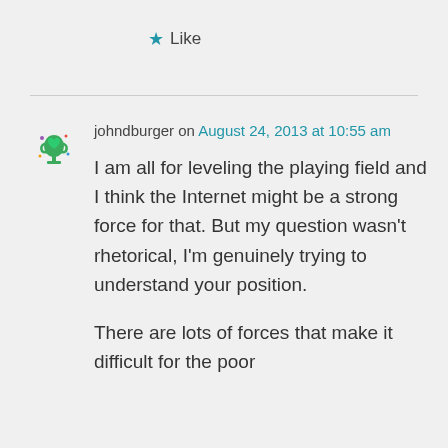★ Like
johndburger on August 24, 2013 at 10:55 am
I am all for leveling the playing field and I think the Internet might be a strong force for that. But my question wasn't rhetorical, I'm genuinely trying to understand your position.
There are lots of forces that make it difficult for the poor to get things done, and